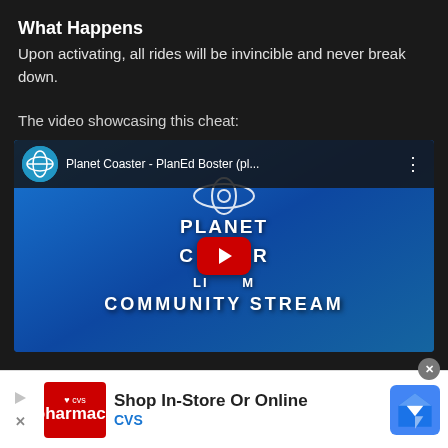What Happens
Upon activating, all rides will be invincible and never break down.
The video showcasing this cheat:
[Figure (screenshot): YouTube video thumbnail for 'Planet Coaster - PlanEd Boster (pl...' showing a Planet Coaster Community Stream thumbnail with a play button overlay on a blue background.]
[Figure (infographic): Advertisement banner: CVS Pharmacy ad reading 'Shop In-Store Or Online' with CVS logo on left and Google Maps navigation icon on right.]